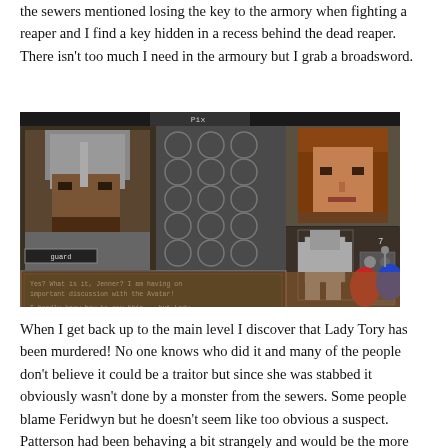the sewers mentioned losing the key to the armory when fighting a reaper and I find a key hidden in a recess behind the dead reaper. There isn't too much I need in the armoury but I grab a broadsword.
[Figure (screenshot): Screenshot of a classic RPG game (Ultima VII or similar) showing a guard character portrait and a player character portrait, with an inventory panel on the right. A dialogue box at the bottom reads: 'Yes? What is it, Jenner? I am having an important discussion with the Avatar! I hardly know how to say this... but Lady Tory... Yes? Out with it! Julia just found her, sir. I...she's been killed. [MORE]']
When I get back up to the main level I discover that Lady Tory has been murdered! No one knows who did it and many of the people don't believe it could be a traitor but since she was stabbed it obviously wasn't done by a monster from the sewers. Some people blame Feridwyn but he doesn't seem like too obvious a suspect. Patterson had been behaving a bit strangely and would be the more